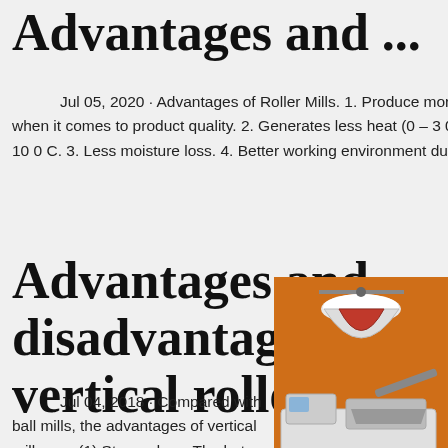Advantages and ...
Jul 05, 2020 · Advantages of Roller Mills. 1. Produce more uniform, fewer fines, and oversized particles when it comes to product quality. 2. Generates less heat (0 – 3 0 C) unlike hammer mill that generates up to 10 0 C. 3. Less moisture loss. 4. Better working environment due to low machine noises level.
Advantages and disadvantages of vertical roller mil…
[Figure (photo): Orange advertisement sidebar showing three industrial mill/crusher machines (cone crusher at top, mobile crushing station in middle, vertical grinding mill at bottom), with 'Enjoy 3% discount', 'Click to Chat', 'Enquiry', and 'limingjlmofen@sina.com' labels.]
Jul 04, 2018 · Compared with ball mills, the advantages of vertical mills are: (1) Strong dry… The hot blast stove provides hot air at 450°C … dry materials with 15% water content. (2) Sim… system. The vertical roller mill has a big feed size (can grind the materials with particle size of 5% of the grinding…